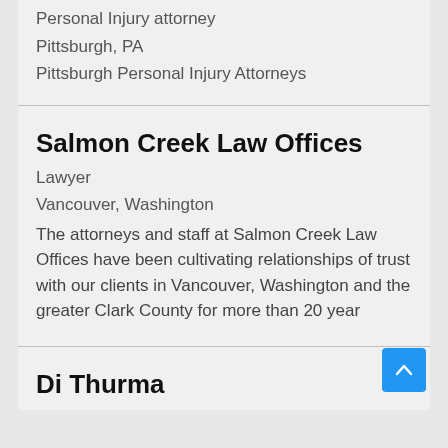Personal Injury attorney
Pittsburgh, PA
Pittsburgh Personal Injury Attorneys
Salmon Creek Law Offices
Lawyer
Vancouver, Washington
The attorneys and staff at Salmon Creek Law Offices have been cultivating relationships of trust with our clients in Vancouver, Washington and the greater Clark County for more than 20 year
Di Thurma